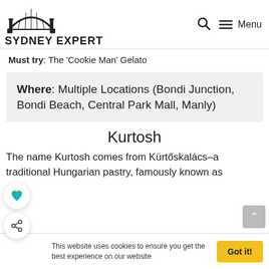Sydney Expert — Search Menu
Must try: The 'Cookie Man' Gelato
Where: Multiple Locations (Bondi Junction, Bondi Beach, Central Park Mall, Manly)
Kurtosh
The name Kurtosh comes from Kürtőskalács–a traditional Hungarian pastry, famously known as
This website uses cookies to ensure you get the best experience on our website  Got it!